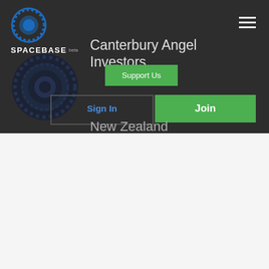SPACEBASE beta
Canterbury Angel Investors
Support Us
Sign In
Join
New Zealand
Trade & Enterprises (NZTE)
NZTE is New Zealand's international business development agency. We exist for one purpose – to grow your business internationally, bigger, better, and faster, for the good of New Zealand.